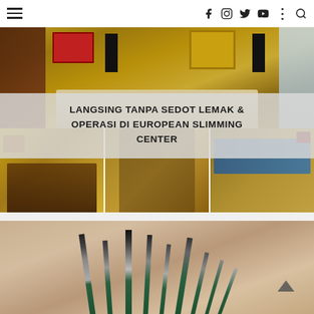Navigation bar with hamburger menu and social icons (facebook, instagram, twitter, youtube, more, search)
[Figure (photo): Collaged interior photos of European Slimming Center showing living room, dining area, corridor, and treatment room with warm golden-brown tones]
LANGSING TANPA SEDOT LEMAK & OPERASI DI EUROPEAN SLIMMING CENTER
[Figure (photo): Close-up photo of multiple paint brushes with green handles against a blurred beige/tan background]